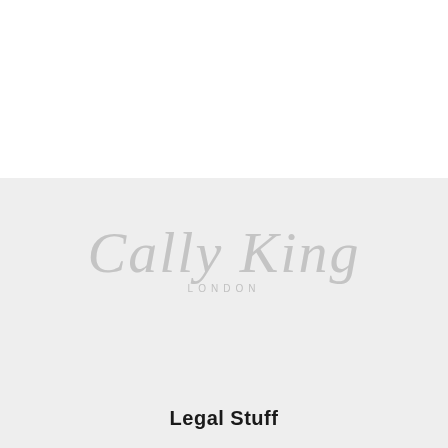[Figure (logo): Cally King London logo in cursive script with 'LONDON' in spaced caps underneath, rendered in light gray on a light gray background]
Legal Stuff